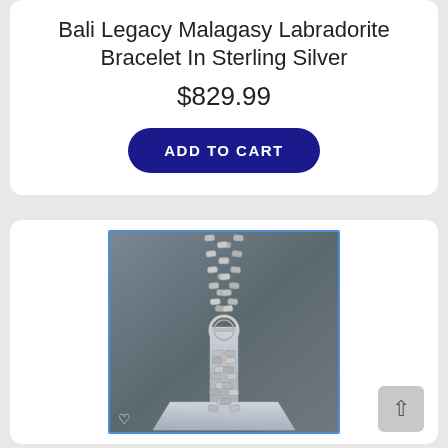Bali Legacy Malagasy Labradorite Bracelet In Sterling Silver
$829.99
ADD TO CART
[Figure (photo): Silver braided/woven bracelet with circular toggle clasp displayed on a clear acrylic stand against a grey background. The bracelet has a herringbone or foxtail chain pattern.]